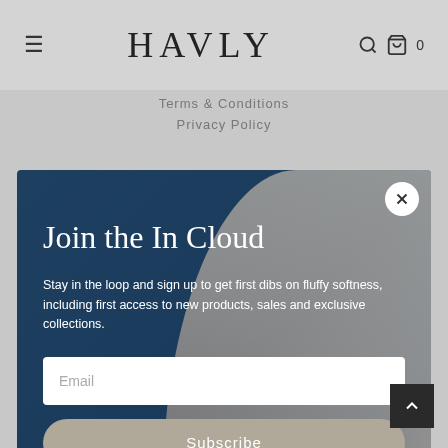HAVLY
Terms & Conditions
Privacy Policy
[Figure (screenshot): Modal popup with dark blue background and soft fabric/cloud imagery on right side. Contains 'Join the In Cloud' heading, descriptive text, email input field, and Subscribe button. Close (X) button in top right corner.]
want to know all the delightful things, we also can text you. Add your mobile below for the 411. You can unsubscribe from both at any time.